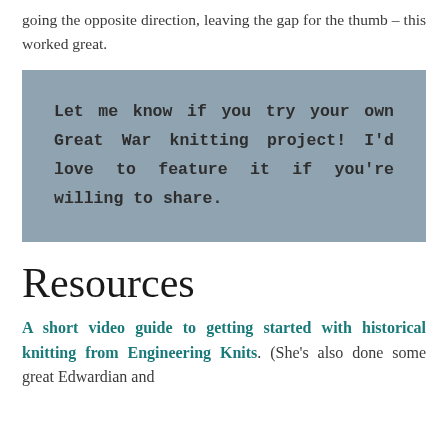going the opposite direction, leaving the gap for the thumb – this worked great.
Let me know if you try your own Great War knitting project! I'd love to feature it if you're willing to share.
Resources
A short video guide to getting started with historical knitting from Engineering Knits. (She's also done some great Edwardian and